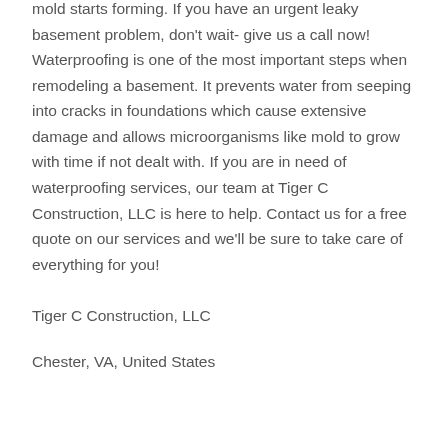mold starts forming. If you have an urgent leaky basement problem, don't wait- give us a call now! Waterproofing is one of the most important steps when remodeling a basement. It prevents water from seeping into cracks in foundations which cause extensive damage and allows microorganisms like mold to grow with time if not dealt with. If you are in need of waterproofing services, our team at Tiger C Construction, LLC is here to help. Contact us for a free quote on our services and we'll be sure to take care of everything for you!
Tiger C Construction, LLC
Chester, VA, United States